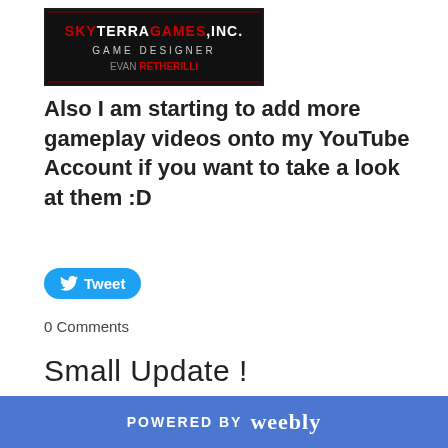[Figure (logo): SkyTerraGames Inc. Game Designer Evan Retherilli logo banner with dark background and red/white text]
Also I am starting to add more gameplay videos onto my YouTube Account if you want to take a look at them :D
[Figure (other): Tweet button (blue rounded rectangle with Twitter bird icon and 'Tweet' text)]
0 Comments
Small Update !
9/11/2015
0 Comments
Okay everyone as you see I have been working with Weebly for awhile and I am thinking I need to move
POWERED BY weebly